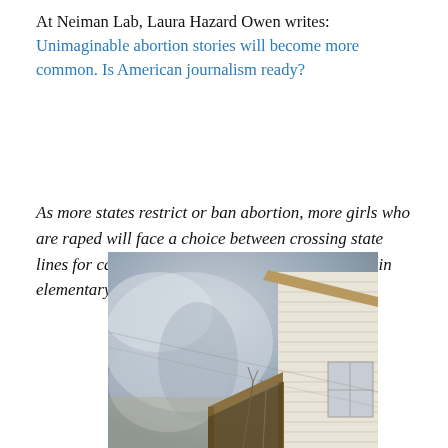At Neiman Lab, Laura Hazard Owen writes: Unimaginable abortion stories will become more common. Is American journalism ready?
As more states restrict or ban abortion, more girls who are raped will face a choice between crossing state lines for care or having babies while they are still in elementary school.
[Figure (illustration): Watercolor painting of a rural house exterior — white clapboard siding, a covered porch or lean-to structure in the foreground, bare trees, and a moody grey-blue sky background.]